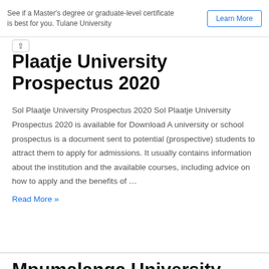See if a Master's degree or graduate-level certificate is best for you. Tulane University
Learn More
Plaatje University Prospectus 2020
Sol Plaatje University Prospectus 2020 Sol Plaatje University Prospectus 2020 is available for Download A university or school prospectus is a document sent to potential (prospective) students to attract them to apply for admissions. It usually contains information about the institution and the available courses, including advice on how to apply and the benefits of …
Read More »
Mpumalanga University Prospectus 2020